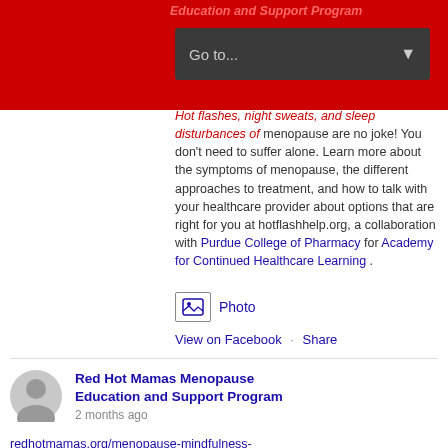Education and Support Program — Go to... navigation
Hot flashes, night sweats, and sleep disturbances of menopause are no joke! You don't need to suffer alone. Learn more about the symptoms of menopause, the different approaches to treatment, and how to talk with your healthcare provider about options that are right for you at hotflashhelp.org, a collaboration with Purdue College of Pharmacy for Academy for Continued Healthcare Learning .
Photo
View on Facebook · Share
Red Hot Mamas Menopause Education and Support Program — 2 months ago
redhotmamas.org/menopause-mindfulness-understanding-the-many-paths-to-menopause/
Menopause Mindfulness: Understanding the Many Paths to Menopause - Red Hot Mamas
redhotmamas.org
Join SWHR for the next event in the Menopause Mindfulness series Menopause